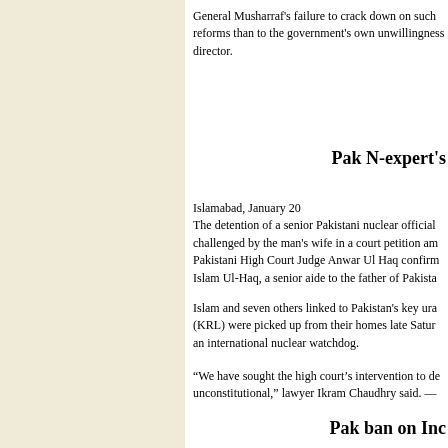General Musharraf's failure to crack down on such reforms than to the government's own unwillingness director.
Pak N-expert's
Islamabad, January 20
The detention of a senior Pakistani nuclear official challenged by the man's wife in a court petition and Pakistani High Court Judge Anwar Ul Haq confirmed Islam Ul-Haq, a senior aide to the father of Pakista
Islam and seven others linked to Pakistan's key ura (KRL) were picked up from their homes late Satur an international nuclear watchdog.
“We have sought the high court’s intervention to de unconstitutional,” lawyer Ikram Chaudhry said. —
Pak ban on Inc